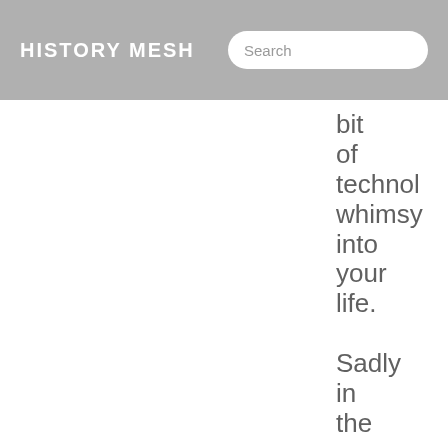HISTORY MESH
bit of technology whimsy into your life. Sadly in the process we've had to lose many details